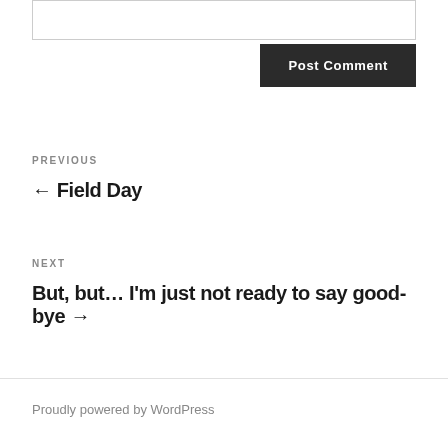[Figure (screenshot): Text input textarea box for comment form]
Post Comment
PREVIOUS
← Field Day
NEXT
But, but… I'm just not ready to say good-bye →
Proudly powered by WordPress